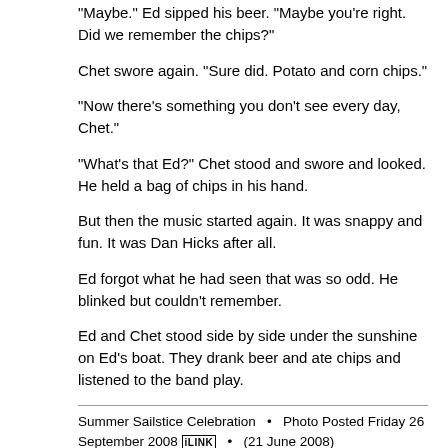"Maybe." Ed sipped his beer. "Maybe you're right. Did we remember the chips?"
Chet swore again. "Sure did. Potato and corn chips."
"Now there's something you don't see every day, Chet."
"What's that Ed?" Chet stood and swore and looked. He held a bag of chips in his hand.
But then the music started again. It was snappy and fun. It was Dan Hicks after all.
Ed forgot what he had seen that was so odd. He blinked but couldn't remember.
Ed and Chet stood side by side under the sunshine on Ed's boat. They drank beer and ate chips and listened to the band play.
Summer Sailstice Celebration  •  Photo Posted Friday 26 September 2008 iLINK  •  (21 June 2008) Treasure Island, San Francisco, California  •  ©